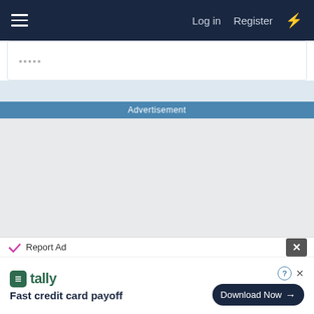Log in | Register
[Figure (screenshot): Truncated white content card with dots/ellipsis visible at top left]
Advertisement
[Figure (screenshot): Large grey advertisement content area placeholder]
Report Ad
[Figure (infographic): Tally app advertisement: tally logo, Fast credit card payoff tagline, Download Now button]